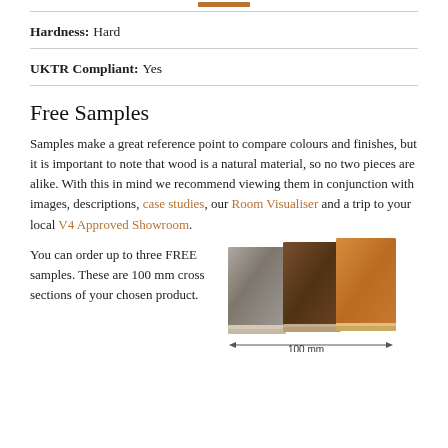Hardness: Hard
UKTR Compliant: Yes
Free Samples
Samples make a great reference point to compare colours and finishes, but it is important to note that wood is a natural material, so no two pieces are alike. With this in mind we recommend viewing them in conjunction with images, descriptions, case studies, our Room Visualiser and a trip to your local V4 Approved Showroom.
You can order up to three FREE samples. These are 100 mm cross sections of your chosen product.
[Figure (photo): Three wood flooring sample cross sections of different colours/finishes shown side by side with a measurement arrow indicating 100 mm]